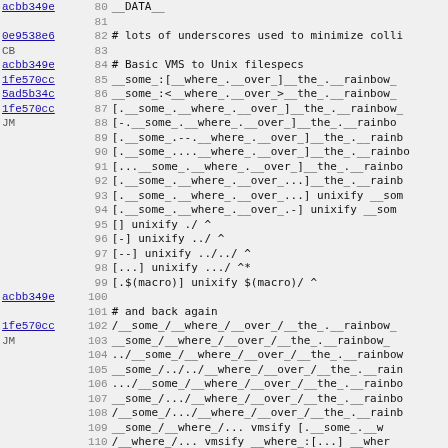Code listing lines 80-111 showing VMS to Unix filespec conversion test data
| commit | line | code |
| --- | --- | --- |
| acbb349e | 80 | __DATA__ |
|  | 81 |  |
| 0e9538e6 | 82 | # lots of underscores used to minimize colli |
| CB | 83 |  |
| acbb349e | 84 | # Basic VMS to Unix filespecs |
| 1fe570cc | 85 | __some_:[__where_.__over_]__the_.__rainbow_ |
| 5ad5b34c | 86 | __some_:<__where_.__over_>__the_.__rainbow_ |
| 1fe570cc | 87 | [.__some_.__where_.__over_]__the_.__rainbow_ |
| JM | 88 | [-.__some_.__where_.__over_]__the_.__rainbo |
|  | 89 | [.__some_.--.__where_.__over_]__the_.__rainb |
|  | 90 | [.__some_....__where_.__over_]__the_.__rainbo |
|  | 91 | [...__some_.__where_.__over_]__the_.__rainbo |
|  | 92 | [.__some_.__where_.__over_...]__the_.__rainb |
|  | 93 | [.__some_.__where_.__over_...] unixify __som |
|  | 94 | [.__some_.__where_.__over_.-]  unixify __som |
|  | 95 | []       unixify           ./      ^ |
|  | 96 | [-]      unixify           ../     ^ |
|  | 97 | [--]     unixify           ../../  ^ |
|  | 98 | [...]    unixify           .../    ^* |
|  | 99 | [.$(macro)]     unixify $(macro)/ ^ |
| acbb349e | 100 |  |
|  | 101 | # and back again |
| 1fe570cc | 102 | /__some_/__where_/__over_/__the_.__rainbow_ |
| JM | 103 | __some_/__where_/__over_/__the_.__rainbow_ |
|  | 104 | ../__some_/__where_/__over_/__the_.__rainbow |
|  | 105 | __some_/../../__where_/__over_/__the_.__rain |
|  | 106 | .../__some_/__where_/__over_/__the_.__rainbo |
|  | 107 | __some_/.../__where_/__over_/__the_.__rainbo |
|  | 108 | /__some_/.../__where_/__over_/__the_.__rainb |
|  | 109 | __some_/__where_/...  vmsify [.__some_.__w |
|  | 110 | /__where_/...  vmsify  __where_:[...]  __wher |
|  | 111 | .       vmsify []      ^ |